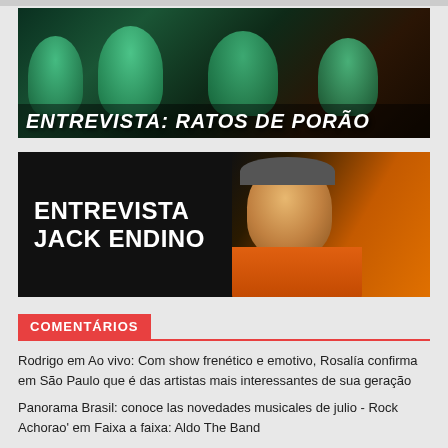[Figure (photo): Band photo of Ratos de Porão with four members shown in green-tinted lighting, with text overlay 'ENTREVISTA: RATOS DE PORÃO']
[Figure (photo): Interview banner for Jack Endino showing text 'ENTREVISTA JACK ENDINO' on black background with photo of a smiling person wearing glasses and a hat, in orange jacket]
COMENTÁRIOS
Rodrigo em Ao vivo: Com show frenético e emotivo, Rosalía confirma em São Paulo que é das artistas mais interessantes de sua geração
Panorama Brasil: conoce las novedades musicales de julio - Rock Achorao' em Faixa a faixa: Aldo The Band